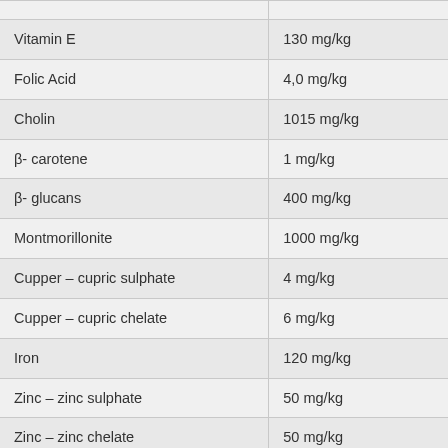| Ingredient | Amount |
| --- | --- |
| Vitamin E | 130 mg/kg |
| Folic Acid | 4,0 mg/kg |
| Cholin | 1015 mg/kg |
| β- carotene | 1 mg/kg |
| β- glucans | 400 mg/kg |
| Montmorillonite | 1000 mg/kg |
| Cupper – cupric sulphate | 4 mg/kg |
| Cupper – cupric chelate | 6 mg/kg |
| Iron | 120 mg/kg |
| Zinc – zinc sulphate | 50 mg/kg |
| Zinc – zinc chelate | 50 mg/kg |
| Manganese | 24 mg/kg |